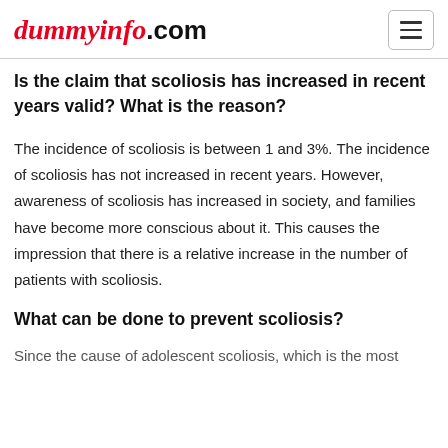dummyinfo.com
Is the claim that scoliosis has increased in recent years valid? What is the reason?
The incidence of scoliosis is between 1 and 3%. The incidence of scoliosis has not increased in recent years. However, awareness of scoliosis has increased in society, and families have become more conscious about it. This causes the impression that there is a relative increase in the number of patients with scoliosis.
What can be done to prevent scoliosis?
Since the cause of adolescent scoliosis, which is the most...